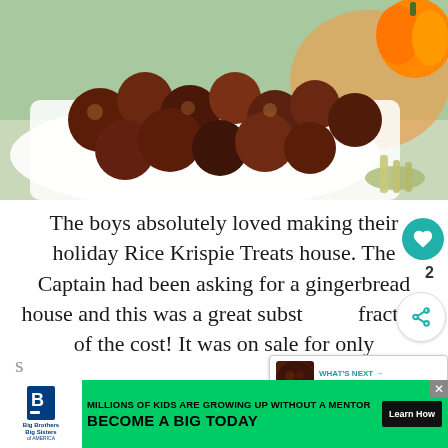[Figure (photo): Food photo showing fried/baked meatballs or meat bites piled on a white rectangular plate, with autumn decorations and a pumpkin visible in the background]
The boys absolutely loved making their holiday Rice Krispie Treats house. The Captain had been asking for a gingerbread house and this was a great subst[itute at a] fraction of the cost! It was on sale for only
[Figure (infographic): WHAT'S NEXT callout with thumbnail showing Order Your Holiday... text and a food thumbnail image]
[Figure (infographic): Advertisement banner: Big Brothers Big Sisters logo. Text: MILLIONS OF KIDS ARE GROWING UP WITHOUT A MENTOR. BECOME A BIG TODAY. Learn How button.]